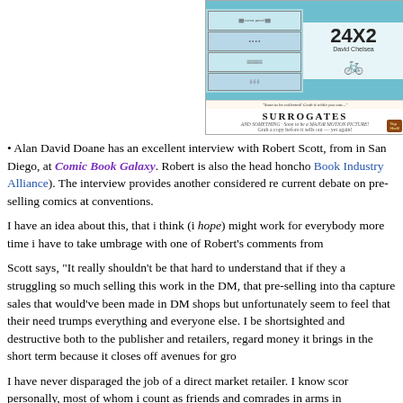[Figure (illustration): Book cover image for The Surrogates and possibly 24x2 by David Chelsea, showing a comic-style cover with teal background and red tricycle, plus The Surrogates logo and Top Shelf badge]
• Alan David Doane has an excellent interview with Robert Scott, from in San Diego, at Comic Book Galaxy. Robert is also the head honcho Book Industry Alliance). The interview provides another considered re current debate on pre-selling comics at conventions.
I have an idea about this, that i think (i hope) might work for everybody more time i have to take umbrage with one of Robert's comments from
Scott says, "It really shouldn't be that hard to understand that if they a struggling so much selling this work in the DM, that pre-selling into tha capture sales that would've been made in DM shops but unfortunately seem to feel that their need trumps everything and everyone else. I be shortsighted and destructive both to the publisher and retailers, regard money it brings in the short term because it closes off avenues for gro
I have never disparaged the job of a direct market retailer. I know scor personally, most of whom i count as friends and comrades in arms in